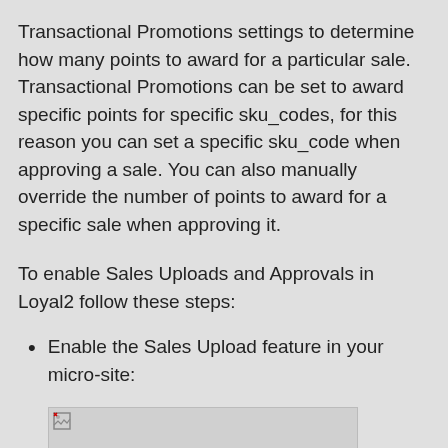Transactional Promotions settings to determine how many points to award for a particular sale. Transactional Promotions can be set to award specific points for specific sku_codes, for this reason you can set a specific sku_code when approving a sale. You can also manually override the number of points to award for a specific sale when approving it.
To enable Sales Uploads and Approvals in Loyal2 follow these steps:
Enable the Sales Upload feature in your micro-site:
[Figure (screenshot): A screenshot placeholder showing a broken image icon in the top-left corner, partially visible at the bottom of the page.]